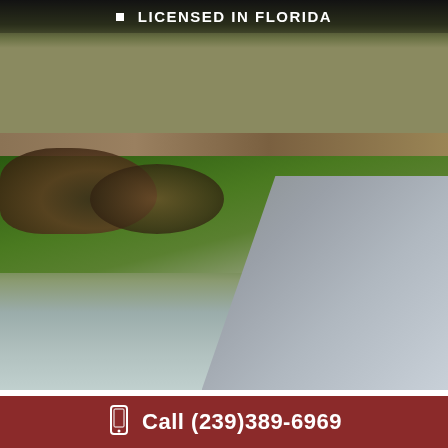[Figure (photo): Exterior photo of a house with stone façade, green lawn, dark mulch/rocks landscaping, and a wet concrete driveway. White text overlay at top reads LICENSED IN FLORIDA.]
LICENSED IN FLORIDA
PROPER HOME AND CONDO INSPECTIONS
When performed with due diligence, a full
Call (239)389-6969